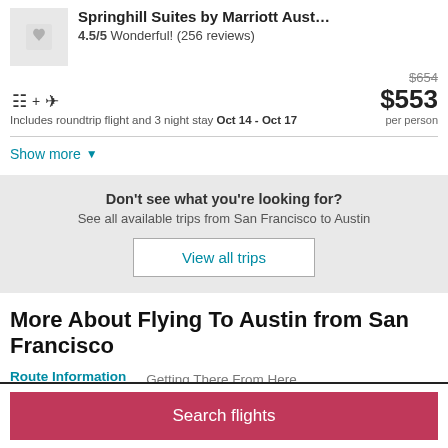Springhill Suites by Marriott Aust...
4.5/5 Wonderful! (256 reviews)
$654 $553 per person
Includes roundtrip flight and 3 night stay Oct 14 - Oct 17
Show more
Don't see what you're looking for?
See all available trips from San Francisco to Austin
View all trips
More About Flying To Austin from San Francisco
Route Information	Getting There From Here
Search flights